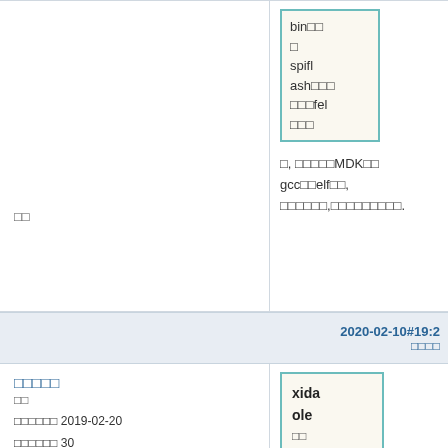bin□□
□
spiflash□□□
□□□fel
□□□
□, □□□□□MDK□□ gcc□□elf□□, □□□□□□,□□□□□□□□□.
□□
2020-02-10#19:2
□□□□
□□□□□
□□
□□□□□□ 2019-02-20
□□□□□□ 30
□□□ 19
xidaole
□□
After Build Run #2